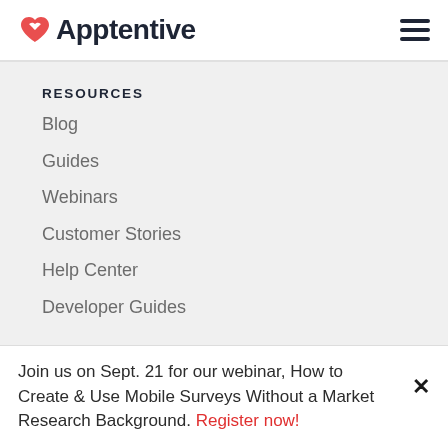Apptentive
RESOURCES
Blog
Guides
Webinars
Customer Stories
Help Center
Developer Guides
COMPANY
About
Join us on Sept. 21 for our webinar, How to Create & Use Mobile Surveys Without a Market Research Background. Register now!